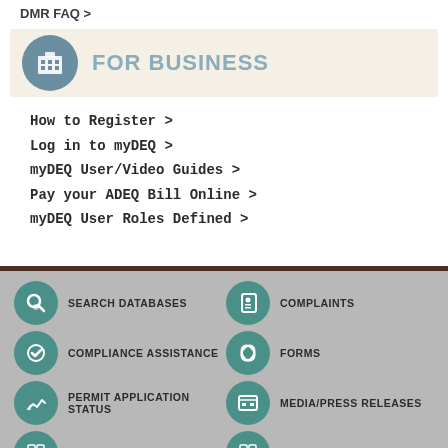DMR FAQ >
FOR BUSINESS
How to Register >
Log in to myDEQ >
myDEQ User/Video Guides >
Pay your ADEQ Bill Online >
myDEQ User Roles Defined >
[Figure (infographic): Footer navigation with teal circular icons and labels: Search Databases, Complaints, Compliance Assistance, Forms, Permit Application Status, Media/Press Releases, Public Notices, Law & Rule]